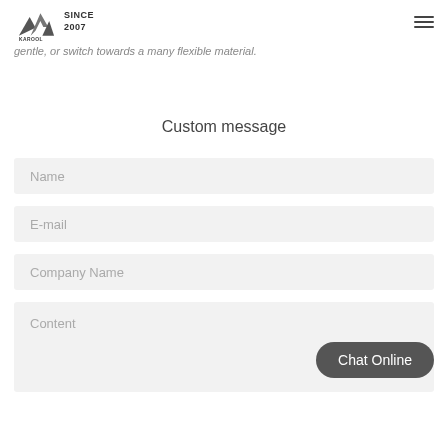KAROOL SINCE 2007
gentle, or switch towards a many flexible material.
Custom message
Name
E-mail
Company Name
Content
Chat Online